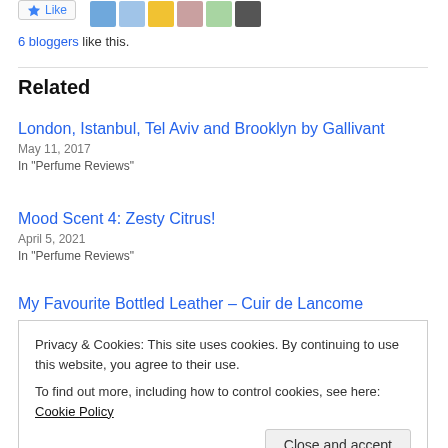6 bloggers like this.
Related
London, Istanbul, Tel Aviv and Brooklyn by Gallivant
May 11, 2017
In "Perfume Reviews"
Mood Scent 4: Zesty Citrus!
April 5, 2021
In "Perfume Reviews"
My Favourite Bottled Leather – Cuir de Lancome
Privacy & Cookies: This site uses cookies. By continuing to use this website, you agree to their use.
To find out more, including how to control cookies, see here: Cookie Policy
Close and accept